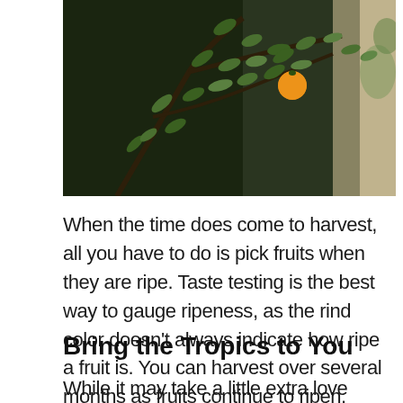[Figure (photo): Photo of a citrus tree with green leaves and an orange fruit hanging from a branch, with dark background and window light on the right.]
When the time does come to harvest, all you have to do is pick fruits when they are ripe. Taste testing is the best way to gauge ripeness, as the rind color doesn’t always indicate how ripe a fruit is. You can harvest over several months as fruits continue to ripen.
Bring the Tropics to You
While it may take a little extra love